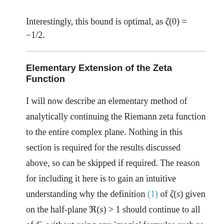Interestingly, this bound is optimal, as ζ(0) = −1/2.
Elementary Extension of the Zeta Function
I will now describe an elementary method of analytically continuing the Riemann zeta function to the entire complex plane. Nothing in this section is required for the results discussed above, so can be skipped if required. The reason for including it here is to gain an intuitive understanding why the definition (1) of ζ(s) given on the half-plane ℜ(s) > 1 should continue to all of ℂ, without using any 'magic' formulas such as Poisson summation or the functional equation. Instead, we can use the Euler-Maclaurin formula. Rather than